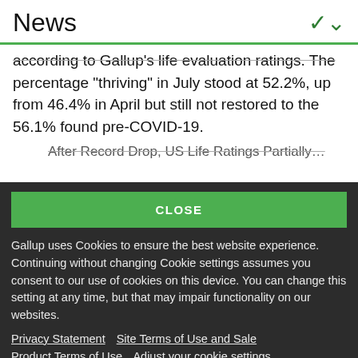News
according to Gallup's life evaluation ratings. The percentage "thriving" in July stood at 52.2%, up from 46.4% in April but still not restored to the 56.1% found pre-COVID-19.
After Record Drop, US Life Ratings Partially...
CLOSE
Gallup uses Cookies to ensure the best website experience. Continuing without changing Cookie settings assumes you consent to our use of cookies on this device. You can change this setting at any time, but that may impair functionality on our websites.
Privacy Statement   Site Terms of Use and Sale
Product Terms of Use   Adjust your cookie settings.